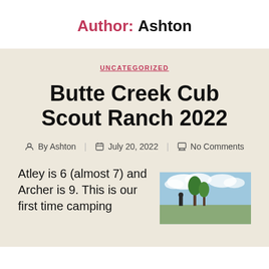Author: Ashton
UNCATEGORIZED
Butte Creek Cub Scout Ranch 2022
By Ashton   July 20, 2022   No Comments
Atley is 6 (almost 7) and Archer is 9. This is our first time camping
[Figure (photo): Outdoor photo showing trees and cloudy sky, appears to be at a camp ranch setting]